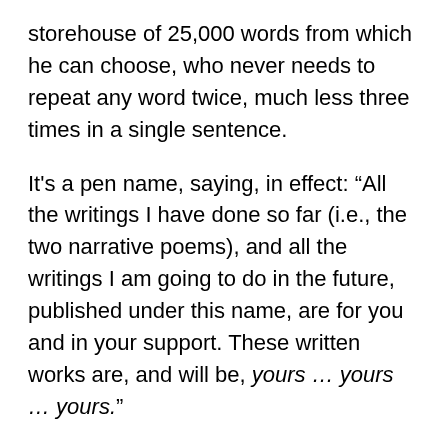storehouse of 25,000 words from which he can choose, who never needs to repeat any word twice, much less three times in a single sentence.
It's a pen name, saying, in effect: “All the writings I have done so far (i.e., the two narrative poems), and all the writings I am going to do in the future, published under this name, are for you and in your support. These written works are, and will be, yours … yours … yours.”
Once Burghley dies in 1598 and Principal Secretary Cecil takes over, the gloves come off with the first issuance of plays under the pseudonym, among them Richard III with “Shake-speare” hyphenated as if to emphasize the image of a writer “shaking the spear” of his pen. This play of royal history contains a mirror image of the hunchbacked Cecil, an allegorical portrait of him as an evil monster, and a